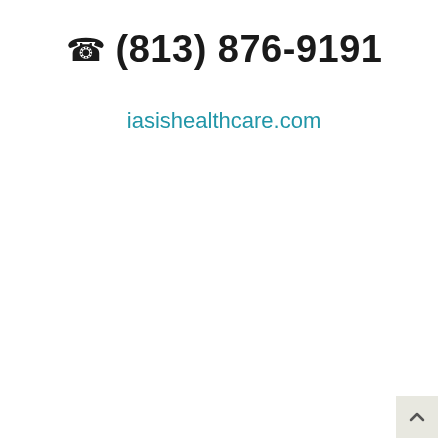☎ (813) 876-9191
iasishealthcare.com